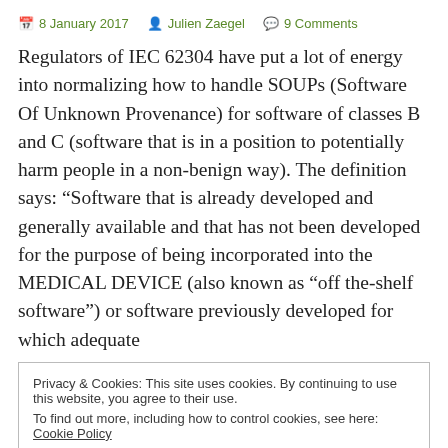8 January 2017  Julien Zaegel  9 Comments
Regulators of IEC 62304 have put a lot of energy into normalizing how to handle SOUPs (Software Of Unknown Provenance) for software of classes B and C (software that is in a position to potentially harm people in a non-benign way). The definition says: “Software that is already developed and generally available and that has not been developed for the purpose of being incorporated into the MEDICAL DEVICE (also known as “off the-shelf software”) or software previously developed for which adequate
Privacy & Cookies: This site uses cookies. By continuing to use this website, you agree to their use.
To find out more, including how to control cookies, see here: Cookie Policy
Close and accept
in SOUPs is a bit misplaced; in my projects, carefully